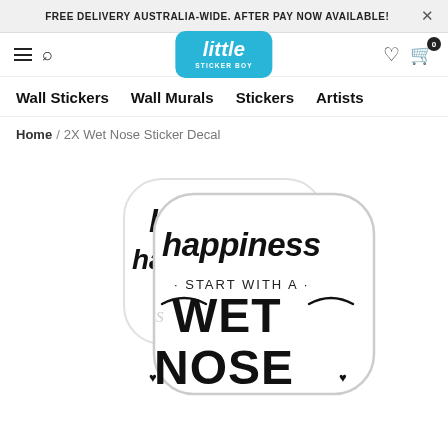FREE DELIVERY AUSTRALIA-WIDE. AFTER PAY NOW AVAILABLE!
[Figure (logo): Little Sticker Boy logo — blue rounded rectangle with 'little' in white italic script and 'STICKER BOY' in small white caps below]
Wall Stickers   Wall Murals   Stickers   Artists
Home / 2X Wet Nose Sticker Decal
[Figure (photo): Two overlapping stickers showing 'happiness · START WITH A · WET NOSE' text with decorative script lettering in black on white die-cut sticker shape]